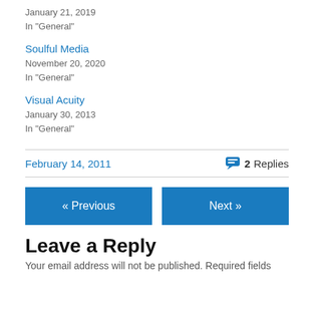January 21, 2019
In "General"
Soulful Media
November 20, 2020
In "General"
Visual Acuity
January 30, 2013
In "General"
February 14, 2011
2 Replies
« Previous
Next »
Leave a Reply
Your email address will not be published. Required fields